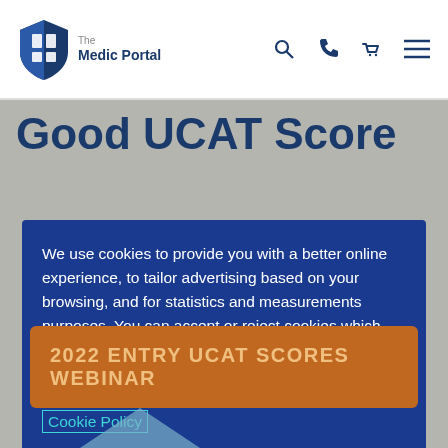The Medic Portal
Good UCAT Score
We use cookies to provide you with a better online experience, to tailor advertising based on your browsing, and for statistics and measurements purposes. You can accept or reject cookies which are not essential for the site to work by clicking on the Cookie settings below. For more detailed information about the cookies we use, see our Cookie Policy
Cookie settings
ACCEPT
2022 ENTRY UCAT SCORES WEBINAR